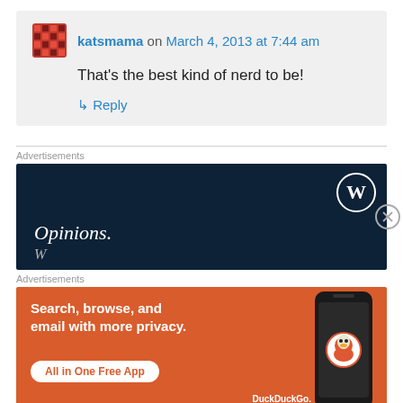katsmama on March 4, 2013 at 7:44 am
That's the best kind of nerd to be!
↳ Reply
Advertisements
[Figure (illustration): WordPress advertisement with dark navy background showing WordPress logo and text 'Opinions.']
Advertisements
[Figure (illustration): DuckDuckGo advertisement with orange background showing 'Search, browse, and email with more privacy. All in One Free App' with phone graphic and DuckDuckGo logo]